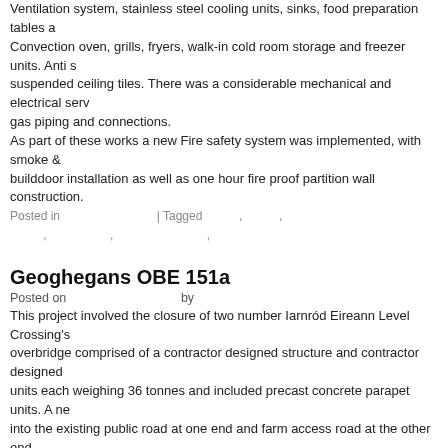Ventilation system, stainless steel cooling units, sinks, food preparation tables as well as a Convection oven, grills, fryers, walk-in cold room storage and freezer units. Anti s suspended ceiling tiles. There was a considerable mechanical and electrical serv gas piping and connections.
As part of these works a new Fire safety system was implemented, with smoke & builddoor installation as well as one hour fire proof partition wall construction.
Posted in | Tagged , ,
Geoghegans OBE 151a
Posted on by
This project involved the closure of two number Iarnród Eireann Level Crossing's overbridge comprised of a contractor designed structure and contractor designed units each weighing 36 tonnes and included precast concrete parapet units. A ne into the existing public road at one end and farm access road at the other end.
Posted in | Tagged , , , , ,
Havertys OB158A
Posted on by
This project involved the closure of three number Iarnród Eireann Level Crossing The overbridge comprised of a contractor designed structure and contractor desi Precast Optri-Cadre units each weighing 36 tonnes and included precast concret road was 4 metres wide with concrete post and wire fencing, and constructed ove